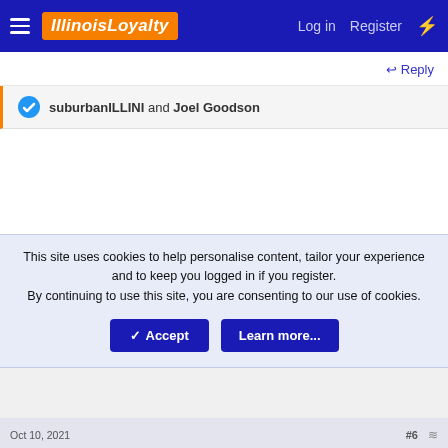IllinoisLoyalty  Log in  Register
Reply
suburbanILLINI and Joel Goodson
This site uses cookies to help personalise content, tailor your experience and to keep you logged in if you register.
By continuing to use this site, you are consenting to our use of cookies.
Accept  Learn more...
Oct 10, 2021  #6  bdutts